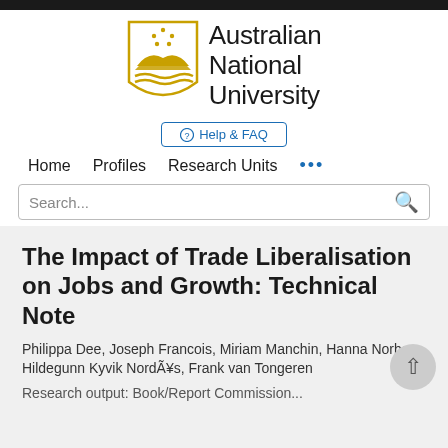[Figure (logo): Australian National University logo with shield and text]
Help & FAQ
Home   Profiles   Research Units   ...
Search...
The Impact of Trade Liberalisation on Jobs and Growth: Technical Note
Philippa Dee, Joseph Francois, Miriam Manchin, Hanna Norberg, Hildegunn Kyvik NordÃ¥s, Frank van Tongeren